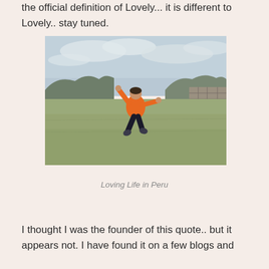the official definition of Lovely... it is different to Lovely.. stay tuned.
[Figure (photo): Person in orange hoodie jumping joyfully in an open grassy field with rocky hills and ancient stone walls in the background under a cloudy sky, photographed in Peru.]
Loving Life in Peru
I thought I was the founder of this quote.. but it appears not. I have found it on a few blogs and